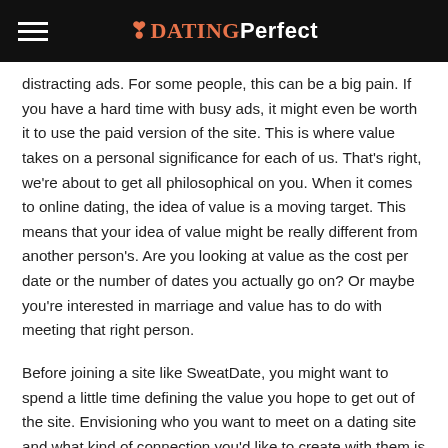☻DATING Perfect
distracting ads. For some people, this can be a big pain. If you have a hard time with busy ads, it might even be worth it to use the paid version of the site. This is where value takes on a personal significance for each of us. That's right, we're about to get all philosophical on you. When it comes to online dating, the idea of value is a moving target. This means that your idea of value might be really different from another person's. Are you looking at value as the cost per date or the number of dates you actually go on? Or maybe you're interested in marriage and value has to do with meeting that right person.
Before joining a site like SweatDate, you might want to spend a little time defining the value you hope to get out of the site. Envisioning who you want to meet on a dating site and what kind of connection you'd like to create with them is an important first step. Once you have a clear sense of this, you're much